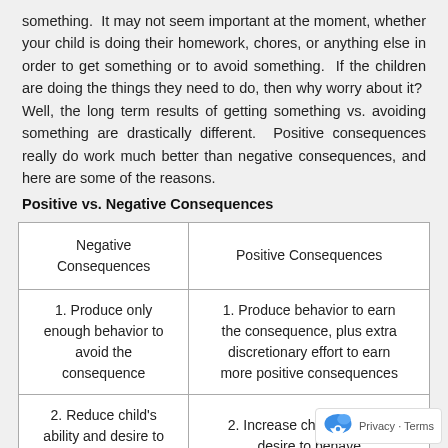something.  It may not seem important at the moment, whether your child is doing their homework, chores, or anything else in order to get something or to avoid something.  If the children are doing the things they need to do, then why worry about it?  Well, the long term results of getting something vs. avoiding something are drastically different.  Positive consequences really do work much better than negative consequences, and here are some of the reasons.
Positive vs. Negative Consequences
| Negative Consequences | Positive Consequences |
| --- | --- |
| 1. Produce only enough behavior to avoid the consequence | 1. Produce behavior to earn the consequence, plus extra discretionary effort to earn more positive consequences |
| 2. Reduce child's ability and desire to behave | 2. Increase child's ability and desire to behave |